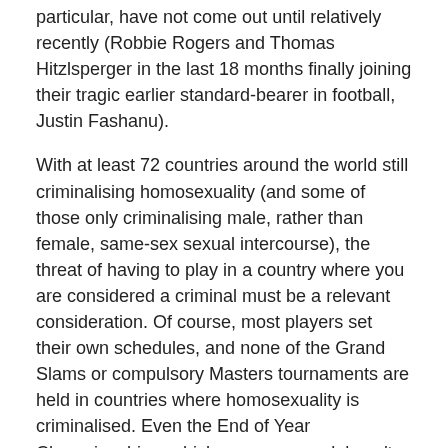particular, have not come out until relatively recently (Robbie Rogers and Thomas Hitzlsperger in the last 18 months finally joining their tragic earlier standard-bearer in football, Justin Fashanu).
With at least 72 countries around the world still criminalising homosexuality (and some of those only criminalising male, rather than female, same-sex sexual intercourse), the threat of having to play in a country where you are considered a criminal must be a relevant consideration. Of course, most players set their own schedules, and none of the Grand Slams or compulsory Masters tournaments are held in countries where homosexuality is criminalised. Even the End of Year Championships, which moves around, hasn't been held in a city with operative 'anti-sodomy' laws since New York in the late 1970s.